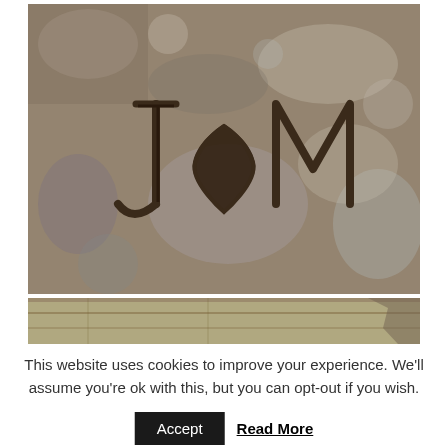[Figure (photo): Close-up photograph of letters J, heart symbol, and M carved into a rough stone surface, text reads J♥M]
[Figure (photo): Partial photograph of wooden planks or bark at the bottom]
This website uses cookies to improve your experience. We'll assume you're ok with this, but you can opt-out if you wish.
Accept   Read More